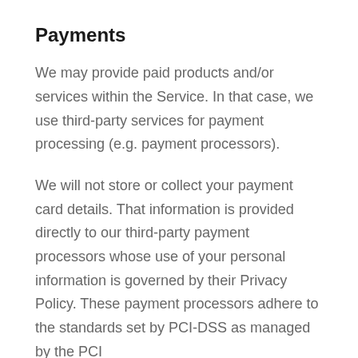Payments
We may provide paid products and/or services within the Service. In that case, we use third-party services for payment processing (e.g. payment processors).
We will not store or collect your payment card details. That information is provided directly to our third-party payment processors whose use of your personal information is governed by their Privacy Policy. These payment processors adhere to the standards set by PCI-DSS as managed by the PCI